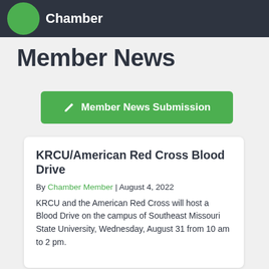Chamber
Member News
[Figure (other): Green button with pencil icon labeled 'Member News Submission']
KRCU/American Red Cross Blood Drive
By Chamber Member | August 4, 2022
KRCU and the American Red Cross will host a Blood Drive on the campus of Southeast Missouri State University, Wednesday, August 31 from 10 am to 2 pm.